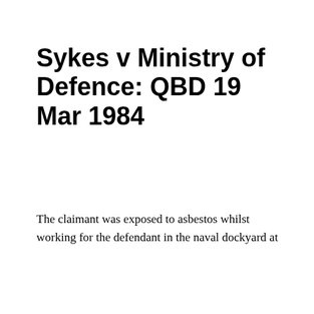Sykes v Ministry of Defence: QBD 19 Mar 1984
The claimant was exposed to asbestos whilst working for the defendant in the naval dockyard at